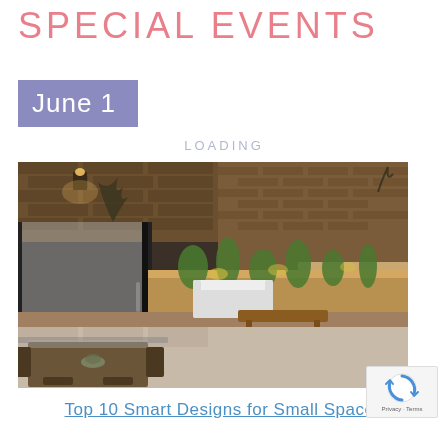SPECIAL EVENTS
June 1
LOADING
[Figure (photo): Outdoor patio/garden space viewed through large glass doors. Shows a dining table and chairs in the foreground, a wooden bench in the middle ground, and a terraced garden with brick walls, ornamental grasses, and warm uplighting in the background at dusk.]
Top 10 Smart Designs for Small Spaces